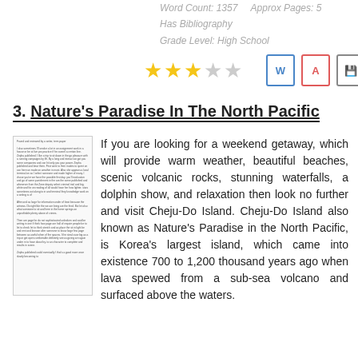Word Count: 1357    Approx Pages: 5
Has Bibliography
Grade Level: High School
[Figure (other): Three filled gold stars and two empty stars (rating), plus Word, PDF, and save/floppy disk icons]
3. Nature's Paradise In The North Pacific
[Figure (other): Thumbnail preview of the essay document]
If you are looking for a weekend getaway, which will provide warm weather, beautiful beaches, scenic volcanic rocks, stunning waterfalls, a dolphin show, and relaxation then look no further and visit Cheju-Do Island. Cheju-Do Island also known as Nature's Paradise in the North Pacific, is Korea's largest island, which came into existence 700 to 1,200 thousand years ago when lava spewed from a sub-sea volcano and surfaced above the waters.